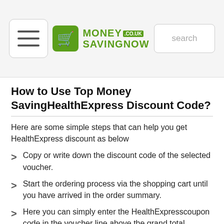MoneySavingNow - navigation header
How to Use Top Money SavingHealthExpress Discount Code?
Here are some simple steps that can help you get HealthExpress discount as below
Copy or write down the discount code of the selected voucher.
Start the ordering process via the shopping cart until you have arrived in the order summary.
Here you can simply enter the HealthExpresscoupon code in the voucher line above the grand total.
If you have clicked on the "Redeem" field, your discount will be credited immediately and the new